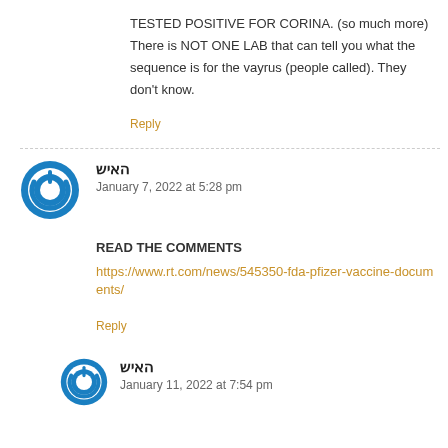TESTED POSITIVE FOR CORINA. (so much more) There is NOT ONE LAB that can tell you what the sequence is for the vayrus (people called). They don't know.
Reply
[Figure (illustration): Blue circular power button icon avatar]
האיש
January 7, 2022 at 5:28 pm
READ THE COMMENTS
https://www.rt.com/news/545350-fda-pfizer-vaccine-documents/
Reply
[Figure (illustration): Blue circular power button icon avatar]
האיש
January 11, 2022 at 7:54 pm